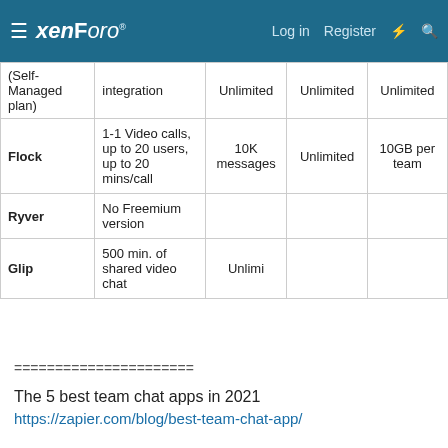xenForo — Log in  Register
|  |  | Unlimited | Unlimited | Unlimited |
| --- | --- | --- | --- | --- |
| (Self-Managed plan) | integration | Unlimited | Unlimited | Unlimited |
| Flock | 1-1 Video calls, up to 20 users, up to 20 mins/call | 10K messages | Unlimited | 10GB per team |
| Ryver | No Freemium version |  |  |  |
| Glip | 500 min. of shared video chat | Unlimi |  |  |
======================
The 5 best team chat apps in 2021
https://zapier.com/blog/best-team-chat-app/